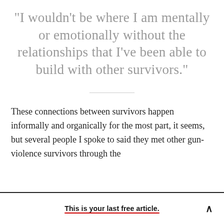“I wouldn’t be where I am mentally or emotionally without the relationships that I’ve been able to build with other survivors.”
These connections between survivors happen informally and organically for the most part, it seems, but several people I spoke to said they met other gun-violence survivors through the
This is your last free article.